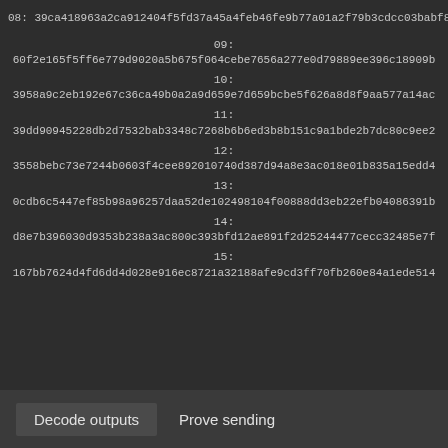08: 39ca418963a2ca912404f5fd37a45a4feb46fe9b77a01a2f79b3cdcc03babf80
09:
60f2e165f5ff6e779d9020a5b675f064cebe7656a277e0d79889ee396c18909b
10:
3958a9c2eb192e67c36ca49b0a2a9d659e7d659bcbe5f626a8d8f9aa577a14ac
11:
39dd90945228db2d7532bab3348c7268b6b6ed3b8b151c9a1bde2b7dc80c9ee2
12:
3558bebc73e7244b0603f4cee892010740d387d94a8e3ac018e01b835a15edd4
13:
0cdb6c5447ef85b98a96257daa52de102498104f00888dd3eb22efb04086391b
14:
d8e7b396030d9353b238a3ac800c393bfd12ae891f2d25244477cecc32485e7f
15:
167bb7624d4fd6dd4d028e916ec8721a32188afe9cd3ff70fb260e84a1ede514
Decode outputs   Prove sending